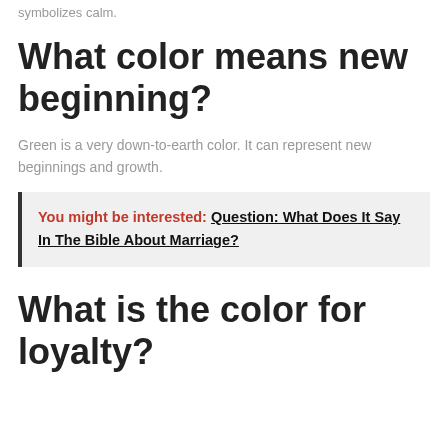symbolizes calm.
What color means new beginning?
Green is a very down-to-earth color. It can represent new beginnings and growth.
You might be interested: Question: What Does It Say In The Bible About Marriage?
What is the color for loyalty?